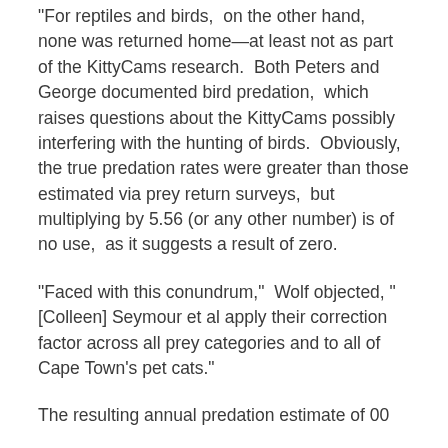“For reptiles and birds,  on the other hand,  none was returned home—at least not as part of the KittyCams research.  Both Peters and George documented bird predation,  which raises questions about the KittyCams possibly interfering with the hunting of birds.  Obviously,  the true predation rates were greater than those estimated via prey return surveys,  but multiplying by 5.56 (or any other number) is of no use,  as it suggests a result of zero.
“Faced with this conundrum,”  Wolf objected,  “[Colleen] Seymour et al apply their correction factor across all prey categories and to all of Cape Town’s pet cats.”
The resulting annual predation estimate of 00